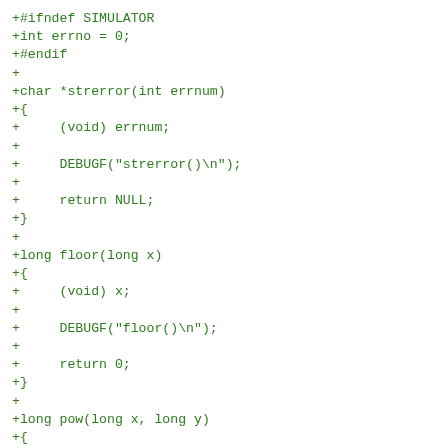+#ifndef SIMULATOR
+int errno = 0;
+#endif
+
+char *strerror(int errnum)
+{
+     (void) errnum;
+
+     DEBUGF("strerror()\n");
+
+     return NULL;
+}
+
+long floor(long x)
+{
+     (void) x;
+
+     DEBUGF("floor()\n");
+
+     return 0;
+}
+
+long pow(long x, long y)
+{
+     (void) x;
+     (void) y;
+
+     DEBUGF("pow()\n");
+
+     return 0;